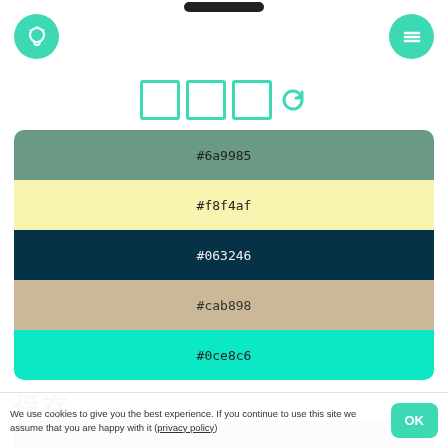[Figure (screenshot): Top navigation bar with black pill/notch at top center, teal circular icon button (lightbulb) on left and teal circular menu button on right]
[Figure (other): Three teal-outlined square boxes and a teal refresh/rotate icon arranged horizontally, representing color palette controls]
[Figure (other): Color palette with 5 horizontal swatches: #6a9985 (sage green), #f8f4af (pale yellow), #063246 (dark navy), #cab898 (tan/khaki), #0ce8c6 (bright teal)]
保存
[Figure (other): Partial color swatch showing #c58482 (dusty rose/mauve)]
We use cookies to give you the best experience. If you continue to use this site we assume that you are happy with it (privacy policy)